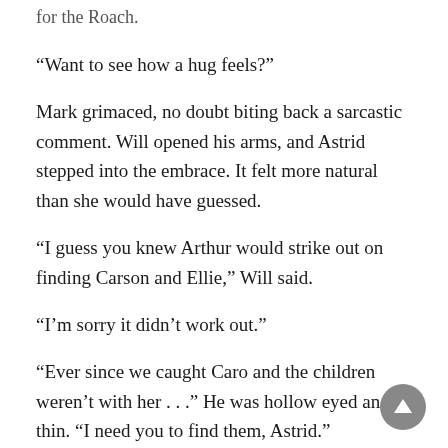for the Roach.
“Want to see how a hug feels?”
Mark grimaced, no doubt biting back a sarcastic comment. Will opened his arms, and Astrid stepped into the embrace. It felt more natural than she would have guessed.
“I guess you knew Arthur would strike out on finding Carson and Ellie,” Will said.
“I’m sorry it didn’t work out.”
“Ever since we caught Caro and the children weren’t with her . . .” He was hollow eyed and thin. “I need you to find them, Astrid.”
“I can’t do worse than Roche.”